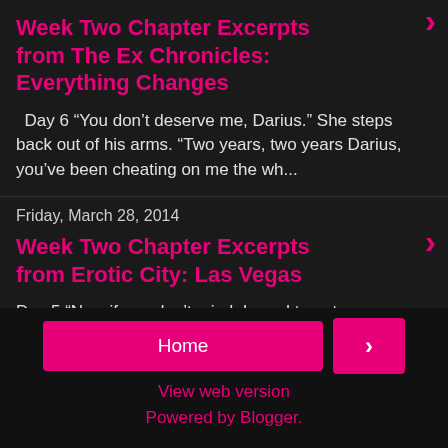Week Two Chapter Excerpts from The Ex Chronicles: Everything Changes
Day 6 “You don’t deserve me, Darius.” She steps back out of his arms. “Two years, two years Darius, you’ve been cheating on me the wh...
Friday, March 28, 2014
Week Two Chapter Excerpts from Erotic City: Las Vegas
Day 5 “Now if you don’t mind, I need to get some things done before I go to work tonight. And CC, please don’t bring me anymore of this...
Home | > | View web version | Powered by Blogger.